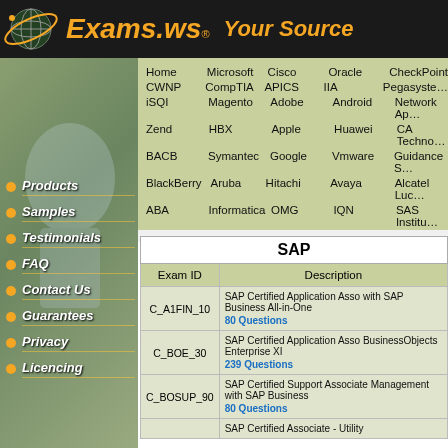[Figure (logo): Exams.ws website header with globe logo and brand name in orange italic text on dark background]
|  |  |  |  |  |
| --- | --- | --- | --- | --- |
| Home | Microsoft | Cisco | Oracle | CheckPoint |
| CWNP | CompTIA | APICS | IIA | Pegasystems |
| iSQI | Magento | Adobe | Android | Network Ap… |
| Zend | HBX | Apple | Huawei | CA Techno… |
| BACB | Symantec | Google | Vmware | Guidance S… |
| BlackBerry | Aruba | Hitachi | Avaya | Alcatel Luc… |
| ABA | Informatica | OMG | IQN | SAS Institu… |
Products
Samples
Testimonials
FAQ
Contact Us
Guarantees
Privacy
Licencing
| SAP |
| --- |
| Exam ID | Description |
| C_A1FIN_10 | SAP Certified Application Asso with SAP Business All-in-One 80 Questions |
| C_BOE_30 | SAP Certified Application Asso BusinessObjects Enterprise XI 239 Questions |
| C_BOSUP_90 | SAP Certified Support Associate Management with SAP Business 80 Questions |
|  | SAP Certified Associate - Utility |